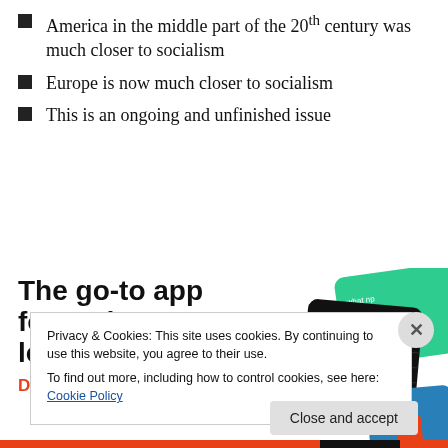America in the middle part of the 20th century was much closer to socialism
Europe is now much closer to socialism
This is an ongoing and unfinished issue
[Figure (illustration): Advertisement for a podcast app featuring bold text 'The go-to app for podcast lovers.' with a red 'Download now' link and images of podcast app cards including a 99% Invisible card on dark background]
Privacy & Cookies: This site uses cookies. By continuing to use this website, you agree to their use.
To find out more, including how to control cookies, see here: Cookie Policy
Close and accept